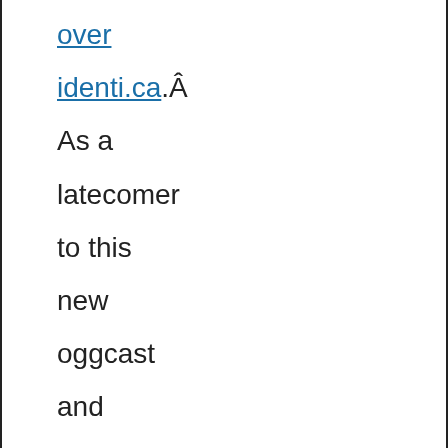over identi.ca.Â As a latecomer to this new oggcast and not having heard their previous show, this was my first time